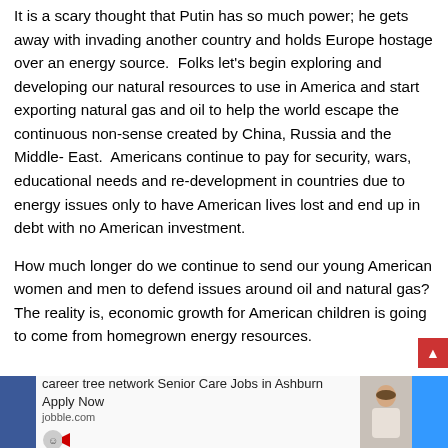It is a scary thought that Putin has so much power; he gets away with invading another country and holds Europe hostage over an energy source.  Folks let's begin exploring and developing our natural resources to use in America and start exporting natural gas and oil to help the world escape the continuous non-sense created by China, Russia and the Middle- East.  Americans continue to pay for security, wars, educational needs and re-development in countries due to energy issues only to have American lives lost and end up in debt with no American investment.
How much longer do we continue to send our young American women and men to defend issues around oil and natural gas? The reality is, economic growth for American children is going to come from homegrown energy resources.
[Figure (other): Advertisement banner at bottom of page: career tree network Senior Care Jobs in Ashburn Apply Now, jobble.com, with blue social media color blocks on sides and a photo of a person]